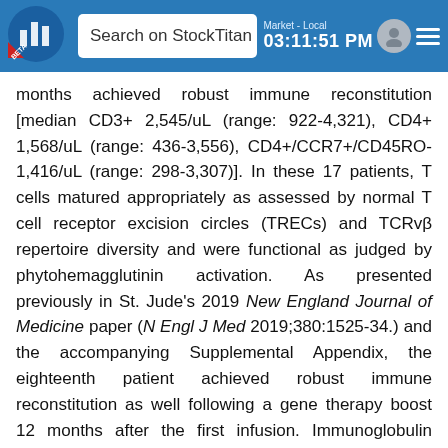[Figure (screenshot): StockTitan mobile app navigation bar with logo, search field, time display (03:11:51 PM), user icon, and hamburger menu]
months achieved robust immune reconstitution [median CD3+ 2,545/uL (range: 922-4,321), CD4+ 1,568/uL (range: 436-3,556), CD4+/CCR7+/CD45RO- 1,416/uL (range: 298-3,307)]. In these 17 patients, T cells matured appropriately as assessed by normal T cell receptor excision circles (TRECs) and TCRvβ repertoire diversity and were functional as judged by phytohemagglutinin activation. As presented previously in St. Jude's 2019 New England Journal of Medicine paper (N Engl J Med 2019;380:1525-34.) and the accompanying Supplemental Appendix, the eighteenth patient achieved robust immune reconstitution as well following a gene therapy boost 12 months after the first infusion. Immunoglobulin replacement was discontinued in 15 patients, 12 have been immunized and two more have begun immunizations. Substantial multilineage engraftment occurred in all patients and was sustained over time as judged by VCN analysis in T, B, NK, and myeloid